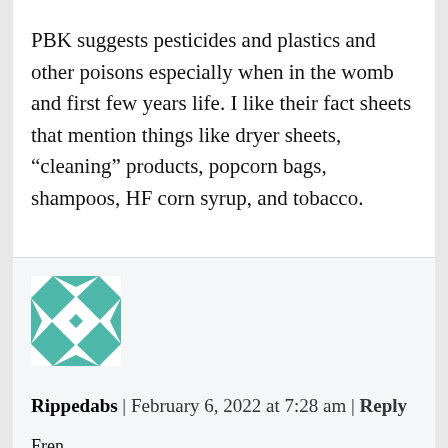PBK suggests pesticides and plastics and other poisons especially when in the womb and first few years life. I like their fact sheets that mention things like dryer sheets, “cleaning” products, popcorn bags, shampoos, HF corn syrup, and tobacco.
[Figure (illustration): Teal and white geometric quilt-pattern avatar icon for user Rippedabs]
Rippedabs | February 6, 2022 at 7:28 am | Reply
Fren,
Are you saying shame is a motivator?
Prisons are full of repeat offenders.
Presidents? Seriously?
Other countries? Again, seriously?